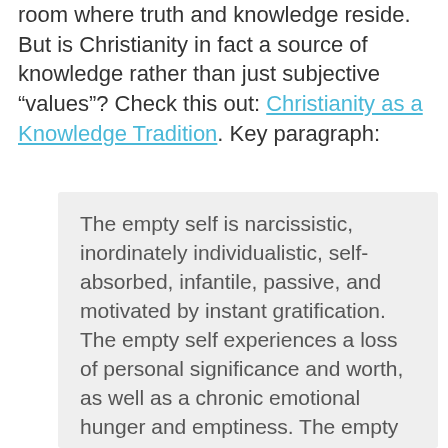room where truth and knowledge reside. But is Christianity in fact a source of knowledge rather than just subjective “values”? Check this out: Christianity as a Knowledge Tradition. Key paragraph:
The empty self is narcissistic, inordinately individualistic, self-absorbed, infantile, passive, and motivated by instant gratification. The empty self experiences a loss of personal significance and worth, as well as a chronic emotional hunger and emptiness. The empty self satiates itself with consumer goods, calories, experiences, politicians, romantic